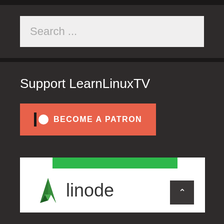Search ...
Support LearnLinuxTV
[Figure (other): Patreon 'Become a Patron' button with red/coral background, Patreon icon (vertical bar and circle) on left, bold white text 'BECOME A PATRON']
[Figure (logo): Linode logo — green angular lightning bolt icon on left, 'linode' text on right, on white card with green bar at top]